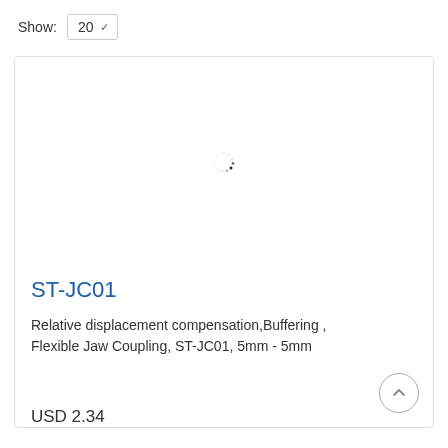Show: 20
[Figure (screenshot): Loading spinner / product image placeholder area inside a product card]
ST-JC01
Relative displacement compensation,Buffering , Flexible Jaw Coupling, ST-JC01, 5mm - 5mm
USD 2.34